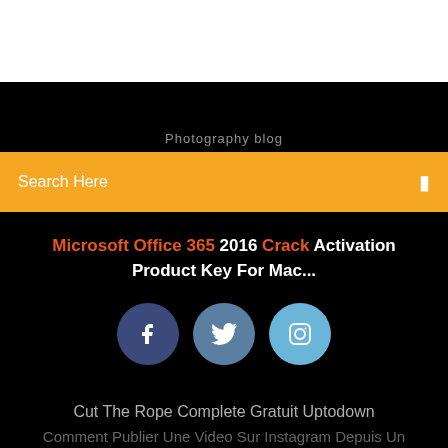[Figure (screenshot): White top area of a webpage]
Photography blog
Search Here
Microsoft Office 365 2016 Crack Activation Product Key For Mac...
[Figure (illustration): Three social media icons: Facebook (dark blue circle), Twitter (medium blue circle), Instagram (light blue circle)]
Cut The Rope Complete Gratuit Uptodown
Comment Publier Une Video Sur Instagram Depuis Un